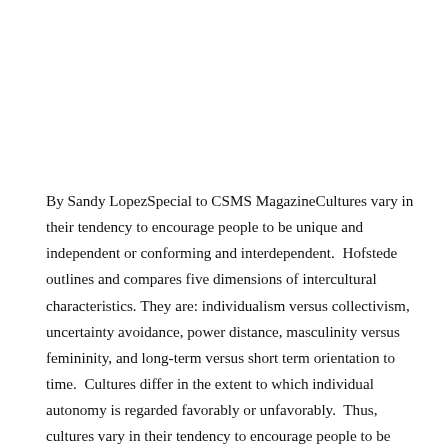By Sandy LopezSpecial to CSMS MagazineCultures vary in their tendency to encourage people to be unique and independent or conforming and interdependent.  Hofstede outlines and compares five dimensions of intercultural characteristics. They are: individualism versus collectivism, uncertainty avoidance, power distance, masculinity versus femininity, and long-term versus short term orientation to time.  Cultures differ in the extent to which individual autonomy is regarded favorably or unfavorably.  Thus, cultures vary in their tendency to encourage people to be unique and independent or conforming and interdependent (Lustig, M. W. & Koester, J., 2006).          It is hard for students from different cultures to adapt to school, communities, neighborhoods and social environments easily. There are so many cultural differences in traditions, behavior, language, speech, and personal views. This makes it almost impossible to for an ESOL teacher to capture and address each culture